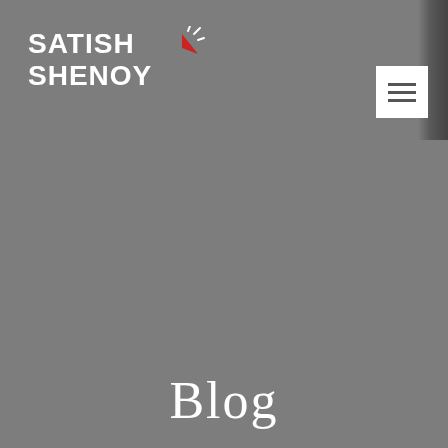[Figure (logo): Satish Shenoy logo with red triangle/arrow icon and white bold text reading SATISH SHENOY]
[Figure (other): Hamburger menu button (three horizontal lines) on white square background, positioned top right]
Blog